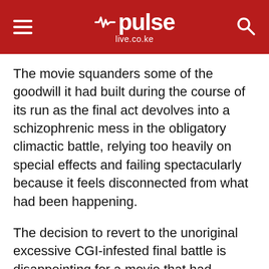pulse live.co.ke
The movie squanders some of the goodwill it had built during the course of its run as the final act devolves into a schizophrenic mess in the obligatory climactic battle, relying too heavily on special effects and failing spectacularly because it feels disconnected from what had been happening.
The decision to revert to the unoriginal excessive CGI-infested final battle is disappointing for a movie that had excelled so much on being its own movie before it started ticking off boxes in a catalogue of action movie clichés.
The climax runs for far too long, and even though it still pulls a few heart strings in the middle of all the destruction, Jenkins tried to run too many plot threads in the end that loses momentum and produces underwhelming results.